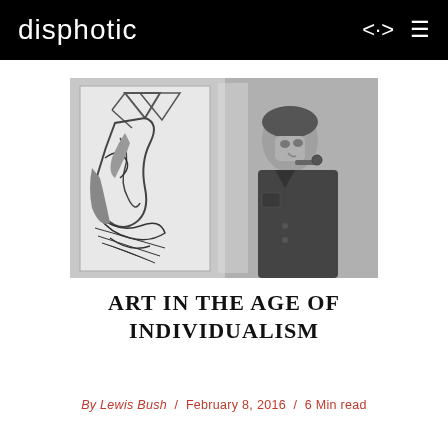disphotic
[Figure (photo): Black and white photograph of a man holding a pipe next to an abstract line drawing artwork on the wall]
ART IN THE AGE OF INDIVIDUALISM
By Lewis Bush / February 8, 2016 / 6 Min read